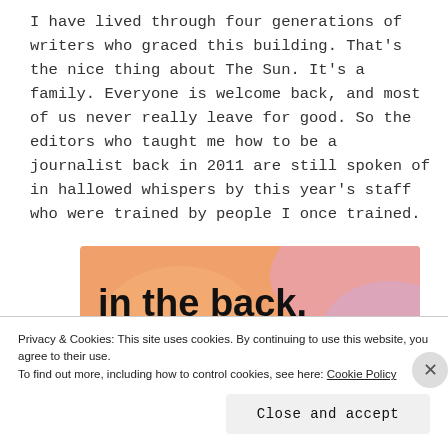I have lived through four generations of writers who graced this building. That's the nice thing about The Sun. It's a family. Everyone is welcome back, and most of us never really leave for good. So the editors who taught me how to be a journalist back in 2011 are still spoken of in hallowed whispers by this year's staff who were trained by people I once trained.
[Figure (illustration): Advertisement banner with orange and pink pastel background, large bold text reading 'in the back.' with a partial circular graphic at the bottom]
Privacy & Cookies: This site uses cookies. By continuing to use this website, you agree to their use.
To find out more, including how to control cookies, see here: Cookie Policy
Close and accept